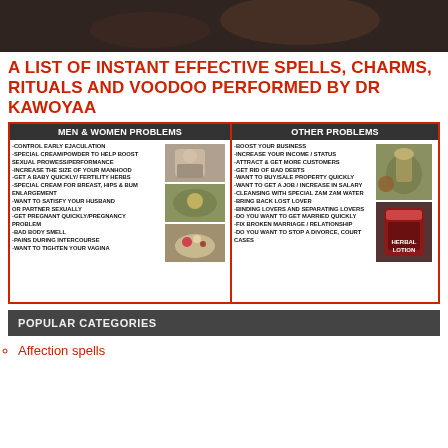[Figure (photo): Dark banner photo at top of page]
A LIST OF INSTANT EFFECTIVE SPELLS, CHARMS, RITUALS AND VOODOO PERFORMED BY DR KAWOYAA
[Figure (infographic): Two-column advertisement box with Men & Women Problems on left and Other Problems on right, with images of a stressed man, hands, herbs, and herbal lotion]
POPULAR CATEGORIES
Affection spells